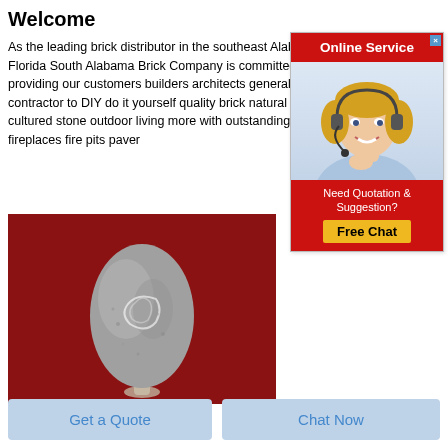Welcome
As the leading brick distributor in the southeast Alabama Florida South Alabama Brick Company is committed to providing our customers builders architects general contractor to DIY do it yourself quality brick natural stone cultured stone outdoor living more with outstanding service fireplaces fire pits paver
[Figure (illustration): Online Service chat widget with a red header, a female customer service agent wearing a headset, and a red bottom section with 'Need Quotation & Suggestion?' text and a yellow 'Free Chat' button.]
[Figure (photo): A gray egg-shaped stone or mineral specimen on a red background, displayed in a glass holder at the base.]
Get a Quote
Chat Now